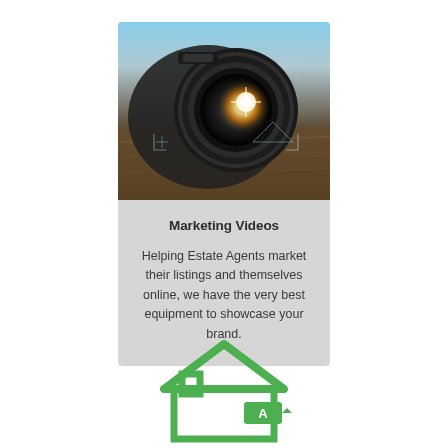[Figure (photo): Close-up photograph of a professional camera lens with light reflecting off the glass, placed on a wooden surface]
Marketing Videos
Helping Estate Agents market their listings and themselves online, we have the very best equipment to showcase your brand.
[Figure (illustration): Green house icon with an energy efficiency rating label showing 'A' grade, partially visible at the bottom of the page]